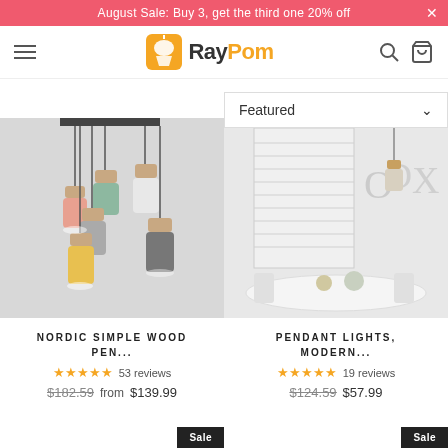August Sale: Buy 3, get the third one 20% off
[Figure (logo): RayPom logo with orange lamp icon and RayPom text]
[Figure (screenshot): Product image: Nordic Simple Wood Pendant lights in multiple colors (pink, green, grey, white, yellow, dark grey) hanging from ceiling]
Featured
[Figure (photo): Product image: Pendant Lights Modern style in room setting with blind windows, dining table and decorative letters ODX]
NORDIC SIMPLE WOOD PEN...
★★★★★ 53 reviews
$182.59 from $139.99
PENDANT LIGHTS, MODERN...
★★★★★ 19 reviews
$124.59 $57.99